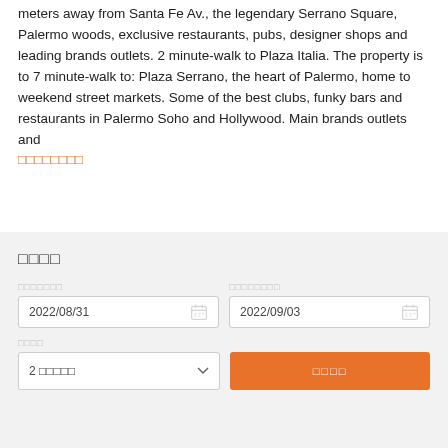meters away from Santa Fe Av., the legendary Serrano Square, Palermo woods, exclusive restaurants, pubs, designer shops and leading brands outlets. 2 minute-walk to Plaza Italia. The property is to 7 minute-walk to: Plaza Serrano, the heart of Palermo, home to weekend street markets. Some of the best clubs, funky bars and restaurants in Palermo Soho and Hollywood. Main brands outlets and
□□□□□□□□ (read more link in orange)
□□□□
□□□□□□□ (check-in label)
2022/08/31
□□□□□□□□ (check-out label)
2022/09/03
□□□□ (guests label)
2 □□□□□ (2 guests dropdown)
□□□□ (search button)